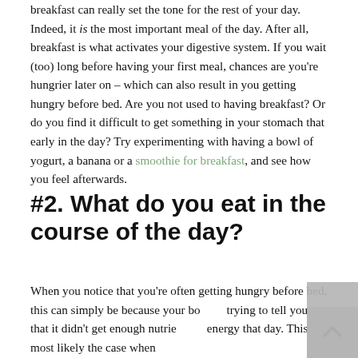breakfast can really set the tone for the rest of your day. Indeed, it is the most important meal of the day. After all, breakfast is what activates your digestive system. If you wait (too) long before having your first meal, chances are you're hungrier later on – which can also result in you getting hungry before bed. Are you not used to having breakfast? Or do you find it difficult to get something in your stomach that early in the day? Try experimenting with having a bowl of yogurt, a banana or a smoothie for breakfast, and see how you feel afterwards.
#2. What do you eat in the course of the day?
When you notice that you're often getting hungry before bed, this can simply be because your body is trying to tell you that it didn't get enough nutrients or energy that day. This is most likely the case when